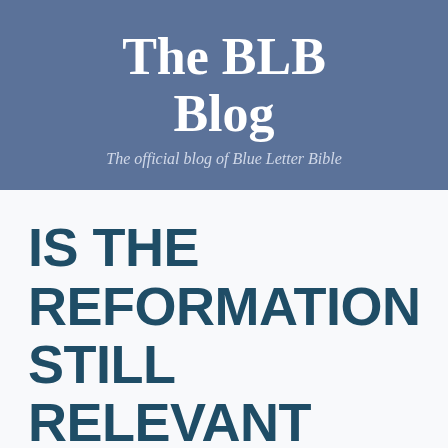The BLB Blog
The official blog of Blue Letter Bible
IS THE REFORMATION STILL RELEVANT TODAY?